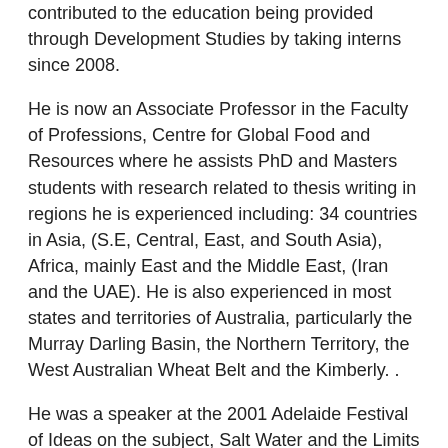contributed to the education being provided through Development Studies by taking interns since 2008.
He is now an Associate Professor in the Faculty of Professions, Centre for Global Food and Resources where he assists PhD and Masters students with research related to thesis writing in regions he is experienced including: 34 countries in Asia, (S.E, Central, East, and South Asia), Africa, mainly East and the Middle East, (Iran and the UAE). He is also experienced in most states and territories of Australia, particularly the Murray Darling Basin, the Northern Territory, the West Australian Wheat Belt and the Kimberly. .
He was a speaker at the 2001 Adelaide Festival of Ideas on the subject, Salt Water and the Limits of Growth and has a long association with Research related to salinity in most states of Australia, USA and Asia.
top
He holds a master's degree in Agricultural Science from